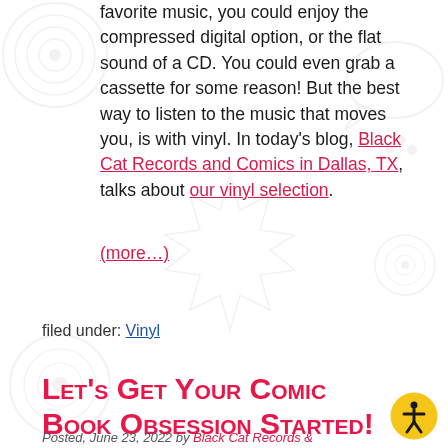favorite music, you could enjoy the compressed digital option, or the flat sound of a CD. You could even grab a cassette for some reason! But the best way to listen to the music that moves you, is with vinyl. In today's blog, Black Cat Records and Comics in Dallas, TX, talks about our vinyl selection.
(more…)
filed under: Vinyl
Let's Get Your Comic Book Obsession Started!
Posted, June 23, 2022 by Black Cat Records &